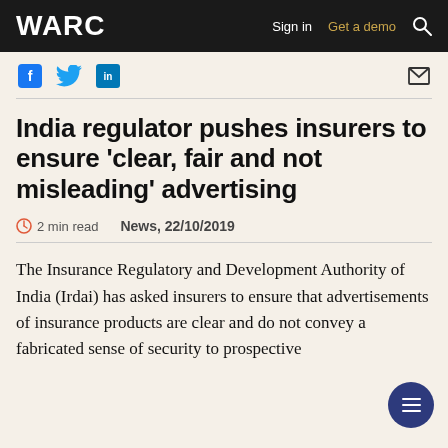WARC | Sign in | Get a demo
[Figure (other): Social media sharing icons: Facebook, Twitter, LinkedIn, and email envelope icon]
India regulator pushes insurers to ensure 'clear, fair and not misleading' advertising
2 min read   News, 22/10/2019
The Insurance Regulatory and Development Authority of India (Irdai) has asked insurers to ensure that advertisements of insurance products are clear and do not convey a fabricated sense of security to prospective